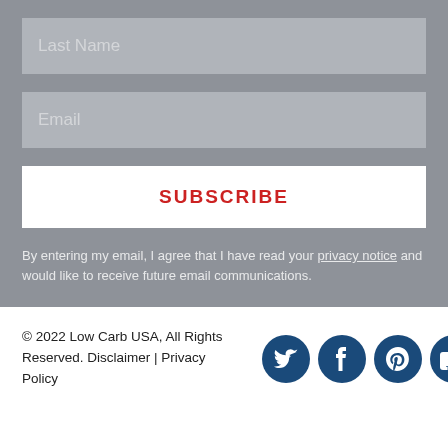Last Name
Email
SUBSCRIBE
By entering my email, I agree that I have read your privacy notice and would like to receive future email communications.
© 2022 Low Carb USA, All Rights Reserved. Disclaimer | Privacy Policy
[Figure (logo): Social media icons: Twitter, Facebook, Pinterest, YouTube, Instagram in dark blue]